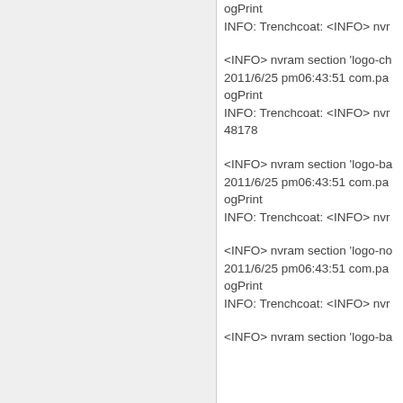ogPrint
INFO: Trenchcoat: <INFO> nvr
<INFO> nvram section 'logo-ch
2011/6/25 pm06:43:51 com.pa
ogPrint
INFO: Trenchcoat: <INFO> nvr
48178
<INFO> nvram section 'logo-ba
2011/6/25 pm06:43:51 com.pa
ogPrint
INFO: Trenchcoat: <INFO> nvr
<INFO> nvram section 'logo-no
2011/6/25 pm06:43:51 com.pa
ogPrint
INFO: Trenchcoat: <INFO> nvr
<INFO> nvram section 'logo-ba